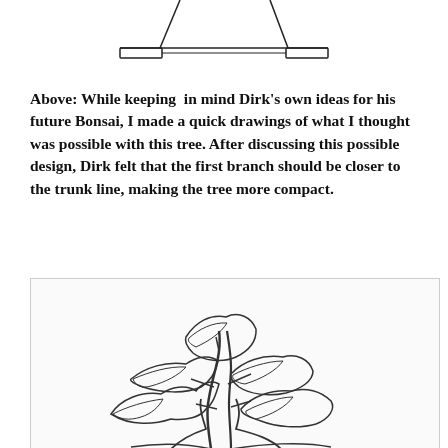[Figure (illustration): Partial view of a bonsai pot or stand shown from above, with horizontal bar and small rectangular feet at each end — line drawing, top portion cropped.]
Above: While keeping in mind Dirk's own ideas for his future Bonsai, I made a quick drawings of what I thought was possible with this tree. After discussing this possible design, Dirk felt that the first branch should be closer to the trunk line, making the tree more compact.
[Figure (illustration): Line drawing of a bonsai tree with detailed foliage pads and trunk structure, showing multiple layers of branches — bottom portion of the page.]